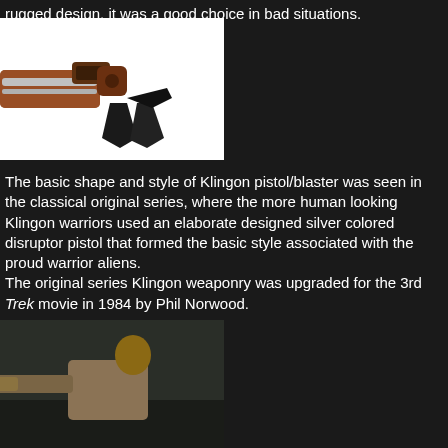rugged design, it was a good choice in bad situations.
[Figure (photo): A Klingon disruptor pistol/blaster prop with a brown and silver body, pointed blade at the front and a black handle, displayed against a white background.]
The basic shape and style of Klingon pistol/blaster was seen in the classical original series, where the more human looking Klingon warriors used an elaborate designed silver colored disruptor pistol that formed the basic style associated with the proud warrior aliens.
The original series Klingon weaponry was upgraded for the 3rd Trek movie in 1984 by Phil Norwood.
[Figure (photo): A scene from a Star Trek movie showing a person aiming a Klingon disruptor pistol with a green light effect at the barrel, in a dimly lit setting.]